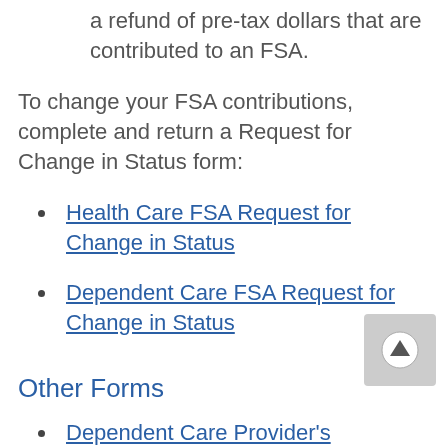a refund of pre-tax dollars that are contributed to an FSA.
To change your FSA contributions, complete and return a Request for Change in Status form:
Health Care FSA Request for Change in Status
Dependent Care FSA Request for Change in Status
Other Forms
Dependent Care Provider's